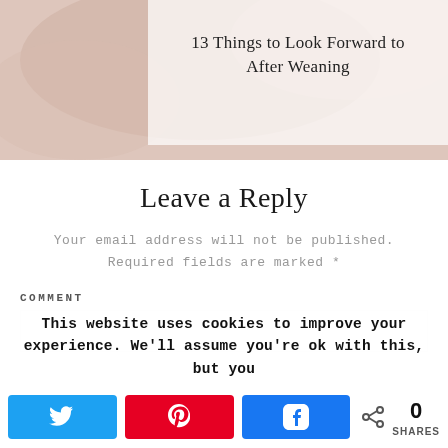[Figure (photo): Top portion of an article thumbnail image with white semi-transparent overlay containing the title '13 Things to Look Forward to After Weaning']
13 Things to Look Forward to After Weaning
Leave a Reply
Your email address will not be published. Required fields are marked *
COMMENT
This website uses cookies to improve your experience. We'll assume you're ok with this, but you
0 SHARES